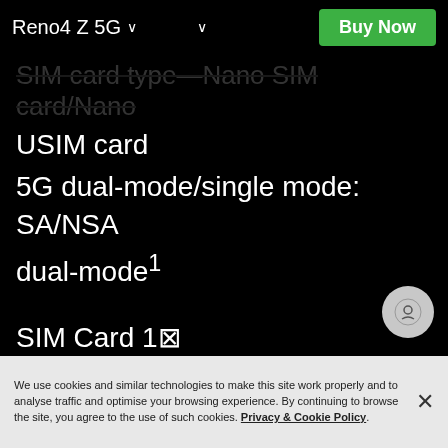Reno4 Z 5G ∨  ∨   Buy Now
SIM card type—Nano SIM card/Nano
USIM card
5G dual-mode/single mode: SA/NSA
dual-mode¹
SIM Card 1⊠
GSM: 850/900/1800/1900MHz
WCDMA: Bands 1/2/4/5/6/8/19
We use cookies and similar technologies to make this site work properly and to analyse traffic and optimise your browsing experience. By continuing to browse the site, you agree to the use of such cookies. Privacy & Cookie Policy.